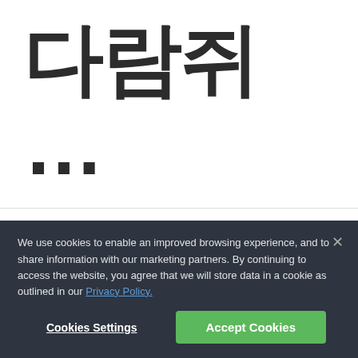[Figure (screenshot): Large Korean text '다람쥐 ...' displayed in a bold sans-serif font as a font preview]
FB Coral
1 Products from FontBank [icons]
[Figure (screenshot): Large Korean text '다라지 현 ㅊ' displayed in a handwritten/script style font as a font preview]
We use cookies to enable an improved browsing experience, and to share information with our marketing partners. By continuing to access the website, you agree that we will store data in a cookie as outlined in our Privacy Policy.
Cookies Settings
Accept Cookies